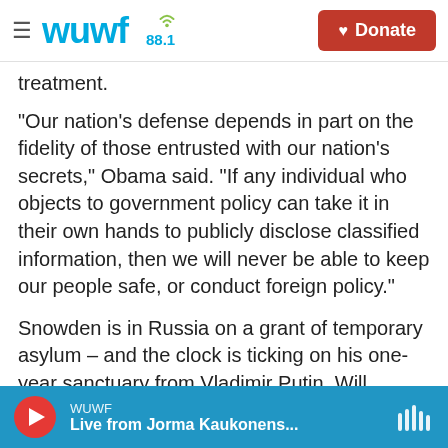wuwf 88.1 | Donate
treatment.
"Our nation's defense depends in part on the fidelity of those entrusted with our nation's secrets," Obama said. "If any individual who objects to government policy can take it in their own hands to publicly disclose classified information, then we will never be able to keep our people safe, or conduct foreign policy."
Snowden is in Russia on a grant of temporary asylum – and the clock is ticking on his one-year sanctuary from Vladimir Putin. Will Russian leaders evict him, shepherd him to yet another country, or
WUWF | Live from Jorma Kaukonens...